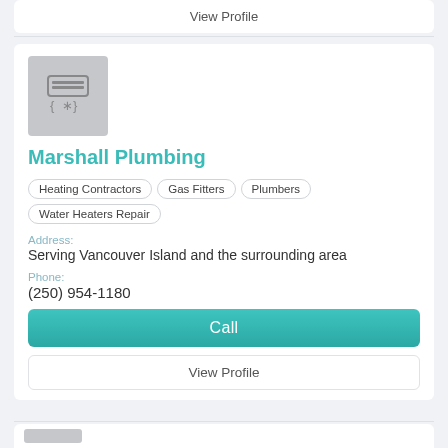View Profile
[Figure (logo): Gray square logo placeholder with HVAC/plumbing icon and symbols]
Marshall Plumbing
Heating Contractors
Gas Fitters
Plumbers
Water Heaters Repair
Address:
Serving Vancouver Island and the surrounding area
Phone:
(250) 954-1180
Call
View Profile
[Figure (logo): Gray square logo placeholder at bottom, partially visible]